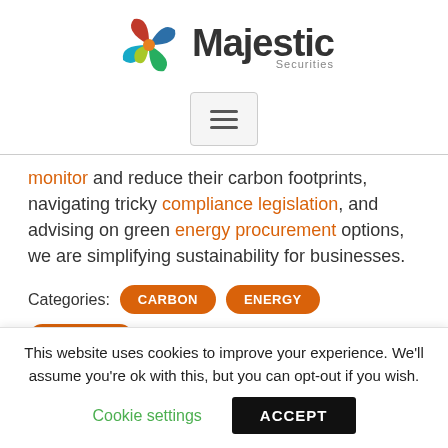[Figure (logo): Majestic Securities logo with colorful pinwheel icon and company name]
[Figure (other): Hamburger menu button (three horizontal lines in a rounded rectangle)]
monitor and reduce their carbon footprints, navigating tricky compliance legislation, and advising on green energy procurement options, we are simplifying sustainability for businesses.
Categories: CARBON ENERGY NET ZERO
This website uses cookies to improve your experience. We'll assume you're ok with this, but you can opt-out if you wish.
Cookie settings   ACCEPT